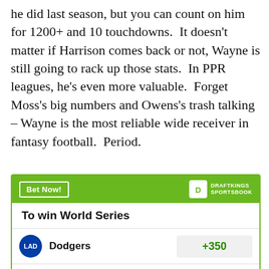he did last season, but you can count on him for 1200+ and 10 touchdowns. It doesn't matter if Harrison comes back or not, Wayne is still going to rack up those stats. In PPR leagues, he's even more valuable. Forget Moss's big numbers and Owens's trash talking – Wayne is the most reliable wide receiver in fantasy football. Period.
[Figure (other): DraftKings Sportsbook advertisement widget showing World Series betting odds. Bet Now button on green header. Dodgers +350, Astros +425.]